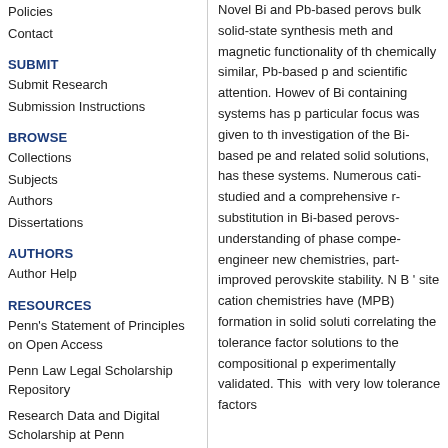Policies
Contact
SUBMIT
Submit Research
Submission Instructions
BROWSE
Collections
Subjects
Authors
Dissertations
AUTHORS
Author Help
RESOURCES
Penn's Statement of Principles on Open Access
Penn Law Legal Scholarship Repository
Research Data and Digital Scholarship at Penn
Novel Bi and Pb-based perovs... bulk solid-state synthesis meth... and magnetic functionality of th... chemically similar, Pb-based p... and scientific attention. However, of Bi containing systems has p... particular focus was given to th... investigation of the Bi-based pe... and related solid solutions, has... these systems. Numerous cati... studied and a comprehensive ... substitution in Bi-based perovs... understanding of phase compe... engineer new chemistries, part... improved perovskite stability. N... B ' site cation chemistries have... (MPB) formation in solid soluti... correlating the tolerance factor... solutions to the compositional p... experimentally validated. This ... with very low tolerance factors...